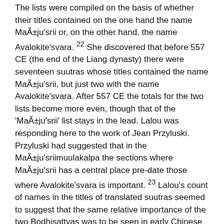The lists were compiled on the basis of whether their titles contained on the one hand the name Mañju'srii or, on the other hand, the name Avalokite'svara. 22 She discovered that before 557 CE (the end of the Liang dynasty) there were seventeen suutras whose titles contained the name Mañju'srii, but just two with the name Avalokite'svara. After 557 CE the totals for the two lists become more even, though that of the 'Mañju'srii' list stays in the lead. Lalou was responding here to the work of Jean Przyluski. Przyluski had suggested that in the Mañju'sriimuulakalpa the sections where Mañju'srii has a central place pre-date those where Avalokite'svara is important. 23 Lalou's count of names in the titles of translated suutras seemed to suggest that the same relative importance of the two Bodhisattvas was to be seen in early Chinese Buddhism. Lalou pursued her investigation of the significance of